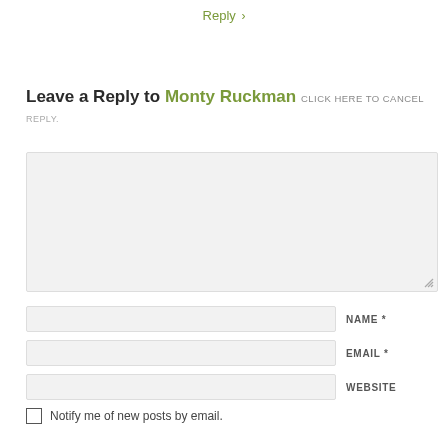Reply »
Leave a Reply to Monty Ruckman CLICK HERE TO CANCEL REPLY.
[Figure (other): Large comment text input area (textarea)]
NAME *
EMAIL *
WEBSITE
Notify me of new posts by email.